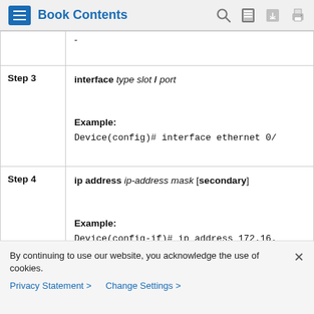Book Contents
| Step | Command/Description |
| --- | --- |
|  | - |
| Step 3 | interface type slot / port

Example:
Device(config)# interface ethernet 0/ |
| Step 4 | ip address ip-address mask [secondary]

Example:
Device(config-if)# ip address 172.16. |
By continuing to use our website, you acknowledge the use of cookies.
Privacy Statement > Change Settings >